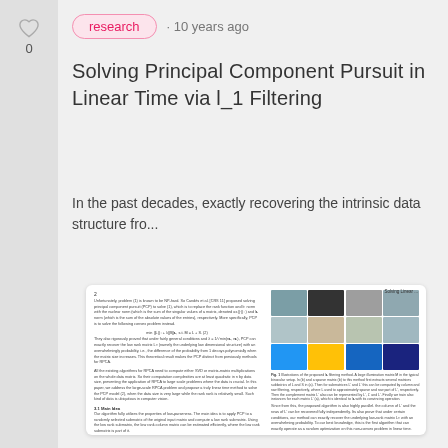[Figure (other): Heart/upvote icon with count 0]
research · 10 years ago
Solving Principal Component Pursuit in Linear Time via l_1 Filtering
In the past decades, exactly recovering the intrinsic data structure fro...
[Figure (screenshot): Preview of a scientific paper page showing text columns and a figure grid with colored image patches]